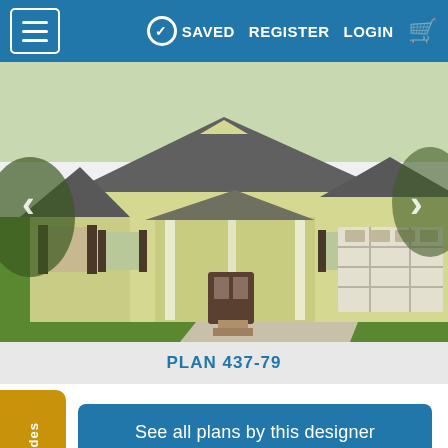≡  SAVED  REGISTER  LOGIN  🛒
[Figure (photo): Exterior photo of a craftsman-style house with yellow siding, dark shutters, covered front porch with columns, and a two-car garage. Green lawn in foreground.]
PLAN 437-79
Promo Codes
See all plans by this designer